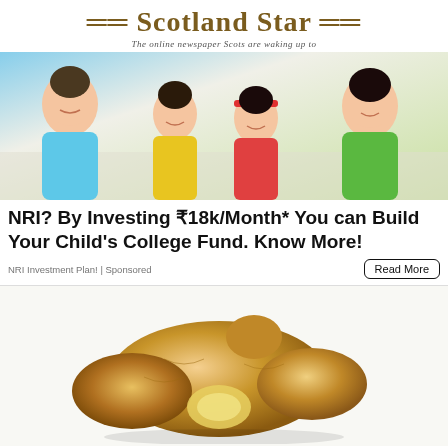=Scotland Star=
The online newspaper Scots are waking up to
[Figure (photo): Family photo showing a man in light blue polo shirt, a boy in yellow shirt, a girl with red headband, and a woman in green shirt, all smiling and leaning forward]
NRI? By Investing ₹18k/Month* You can Build Your Child's College Fund. Know More!
NRI Investment Plan! | Sponsored
[Figure (photo): Close-up photo of fresh ginger root on white background]